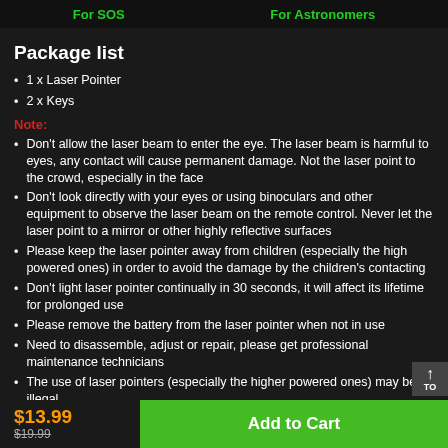For SOS    For Astronomers
Package list
1 x Laser Pointer
2 x Keys
Note:
Don't allow the laser beam to enter the eye. The laser beam is harmful to eyes, any contact will cause permanent damage. Not the laser point to the crowd, especially in the face
Don't look directly with your eyes or using binoculars and other equipment to observe the laser beam on the remote control. Never let the laser point to a mirror or other highly reflective surfaces
Please keep the laser pointer away from children (especially the high powered ones) in order to avoid the damage by the children's contacting
Don't light laser pointer continually in 30 seconds, it will affect its lifetime for prolonged use
Please remove the battery from the laser pointer when not in use
Need to disassemble, adjust or repair, please get professional maintenance technicians
The use of laser pointers (especially the higher powered ones) may be illegal
$13.99
$19.99
Add to Cart